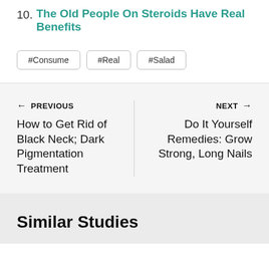10. The Old People On Steroids Have Real Benefits
#Consume  #Real  #Salad
← PREVIOUS
How to Get Rid of Black Neck; Dark Pigmentation Treatment
NEXT →
Do It Yourself Remedies: Grow Strong, Long Nails
Similar Studies